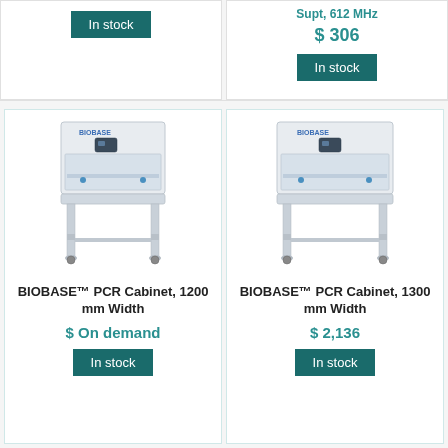In stock
$ 306
In stock
[Figure (photo): BIOBASE PCR Cabinet 1200mm Width laboratory safety cabinet with stand]
BIOBASE™ PCR Cabinet, 1200 mm Width
$ On demand
In stock
[Figure (photo): BIOBASE PCR Cabinet 1300mm Width laboratory safety cabinet with stand]
BIOBASE™ PCR Cabinet, 1300 mm Width
$ 2,136
In stock